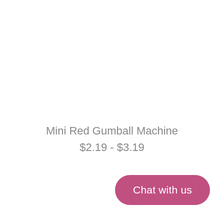Mini Red Gumball Machine
$2.19 - $3.19
Chat with us